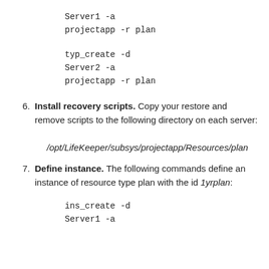Server1 -a
projectapp -r plan
typ_create -d
Server2 -a
projectapp -r plan
6. Install recovery scripts. Copy your restore and remove scripts to the following directory on each server:
/opt/LifeKeeper/subsys/projectapp/Resources/plan
7. Define instance. The following commands define an instance of resource type plan with the id 1yrplan:
ins_create -d
Server1 -a